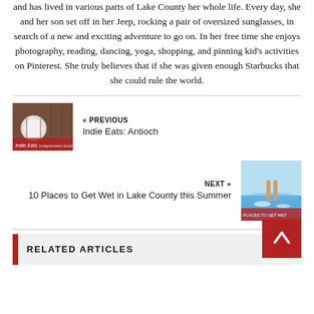and has lived in various parts of Lake County her whole life. Every day, she and her son set off in her Jeep, rocking a pair of oversized sunglasses, in search of a new and exciting adventure to go on. In her free time she enjoys photography, reading, dancing, yoga, shopping, and pinning kid's activities on Pinterest. She truly believes that if she was given enough Starbucks that she could rule the world.
[Figure (photo): Thumbnail image of a plate with silverware on a wooden table, with 'Indie Eats' logo text overlay]
« PREVIOUS
Indie Eats: Antioch
NEXT »
10 Places to Get Wet in Lake County this Summer
[Figure (photo): Thumbnail image of a person wading in the ocean surf with 'Places to Get Wet' text overlay]
RELATED ARTICLES